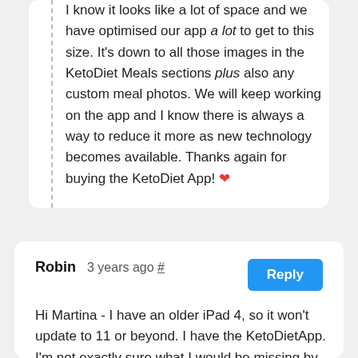I know it looks like a lot of space and we have optimised our app a lot to get to this size. It's down to all those images in the KetoDiet Meals sections plus also any custom meal photos. We will keep working on the app and I know there is always a way to reduce it more as new technology becomes available. Thanks again for buying the KetoDiet App! ❤
Robin   3 years ago #
Hi Martina - I have an older iPad 4, so it won't update to 11 or beyond. I have the KetoDietApp. I'm not exactly sure what I would be missing by not being able to get the Keto App. ???